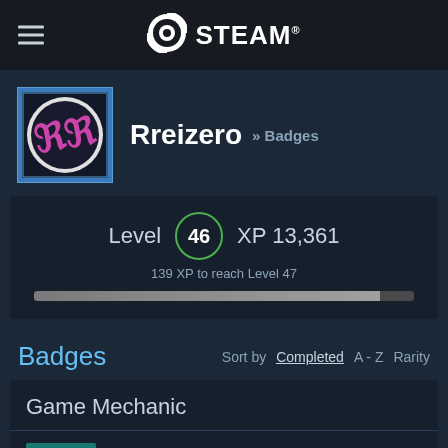STEAM®
Rreizero » Badges
Level 46  XP 13,361
139 XP to reach Level 47
Badges  Sort by  Completed  A - Z  Rarity
Game Mechanic
Game Mechanic